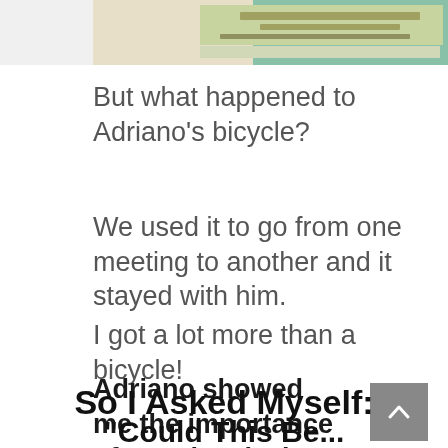[Figure (photo): Partial photo at top of page showing two people standing in front of a banner/sign backdrop]
But what happened to Adriano's bicycle?
We used it to go from one meeting to another and it stayed with him.
I got a lot more than a bicycle!
Adriano showed me the importance of creative design.
So I Asked Myself:
"Could This Be...